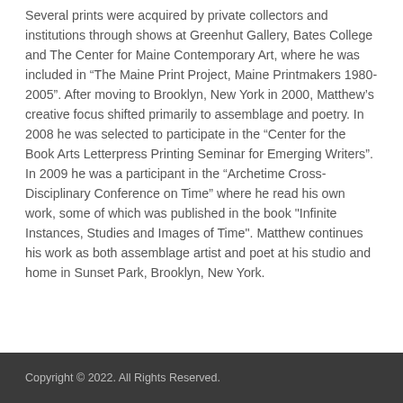Several prints were acquired by private collectors and institutions through shows at Greenhut Gallery, Bates College and The Center for Maine Contemporary Art, where he was included in “The Maine Print Project, Maine Printmakers 1980-2005”. After moving to Brooklyn, New York in 2000, Matthew’s creative focus shifted primarily to assemblage and poetry. In 2008 he was selected to participate in the “Center for the Book Arts Letterpress Printing Seminar for Emerging Writers”. In 2009 he was a participant in the “Archetime Cross-Disciplinary Conference on Time” where he read his own work, some of which was published in the book "Infinite Instances, Studies and Images of Time". Matthew continues his work as both assemblage artist and poet at his studio and home in Sunset Park, Brooklyn, New York.
Copyright © 2022. All Rights Reserved.